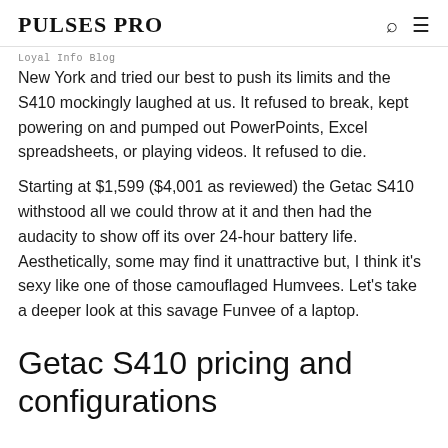PULSES PRO
Loyal Info Blog
New York and tried our best to push its limits and the S410 mockingly laughed at us. It refused to break, kept powering on and pumped out PowerPoints, Excel spreadsheets, or playing videos. It refused to die.
Starting at $1,599 ($4,001 as reviewed) the Getac S410 withstood all we could throw at it and then had the audacity to show off its over 24-hour battery life.  Aesthetically, some may find it unattractive but, I think it's sexy like one of those camouflaged Humvees. Let's take a deeper look at this savage Funvee of a laptop.
Getac S410 pricing and configurations